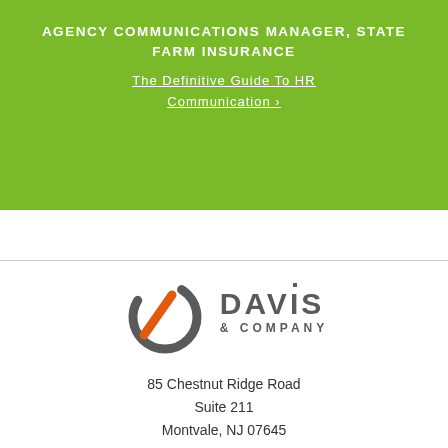AGENCY COMMUNICATIONS MANAGER, STATE FARM INSURANCE
The Definitive Guide To HR Communication ›
[Figure (logo): Davis & Company logo — a circular arc in dark grey with an orange diagonal slash, followed by the text 'DAVIS & COMPANY' in bold grey letters]
85 Chestnut Ridge Road
Suite 211
Montvale, NJ 07645